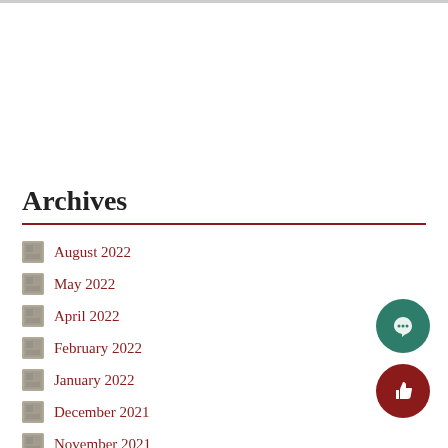Archives
August 2022
May 2022
April 2022
February 2022
January 2022
December 2021
November 2021
October 2021
September 2021
March 2021